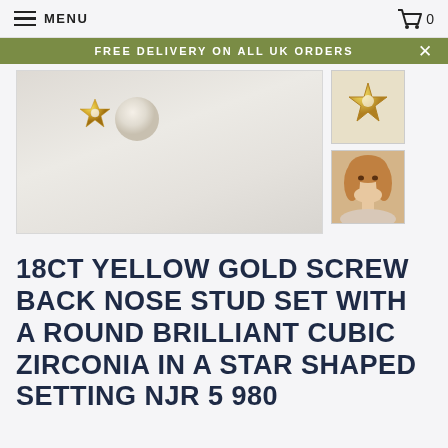MENU  [cart icon] 0
FREE DELIVERY ON ALL UK ORDERS
[Figure (photo): Gold star-shaped nose stud with cubic zirconia on white background, plus thumbnail of woman wearing nose stud]
18CT YELLOW GOLD SCREW BACK NOSE STUD SET WITH A ROUND BRILLIANT CUBIC ZIRCONIA IN A STAR SHAPED SETTING NJR 5 980